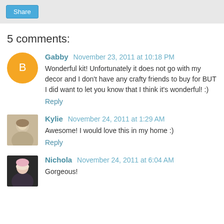5 comments:
Gabby November 23, 2011 at 10:18 PM
Wonderful kit! Unfortunately it does not go with my decor and I don't have any crafty friends to buy for BUT I did want to let you know that I think it's wonderful! :)
Reply
Kylie November 24, 2011 at 1:29 AM
Awesome! I would love this in my home :)
Reply
Nichola November 24, 2011 at 6:04 AM
Gorgeous!